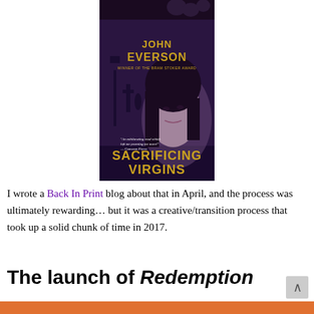[Figure (photo): Book cover of 'Sacrificing Virgins' by John Everson, Winner of the Bram Stoker Award. Dark gothic cover featuring a woman's face, cemetery scene, gold title text on dark purple/blue background.]
I wrote a Back In Print blog about that in April, and the process was ultimately rewarding… but it was a creative/transition process that took up a solid chunk of time in 2017.
The launch of Redemption